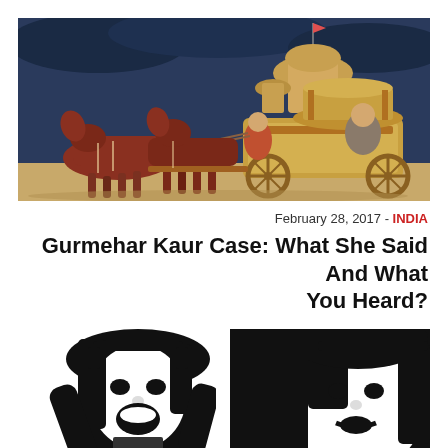[Figure (illustration): Classical Indian painting depicting the Mahabharata chariot scene with horses, charioteer, and a figure seated in an ornate golden chariot against a dark blue sky]
February 28, 2017 - INDIA
Gurmehar Kaur Case: What She Said And What You Heard?
[Figure (illustration): Black and white graphic art showing two stylized female figures shouting or protesting, high contrast silhouette style]